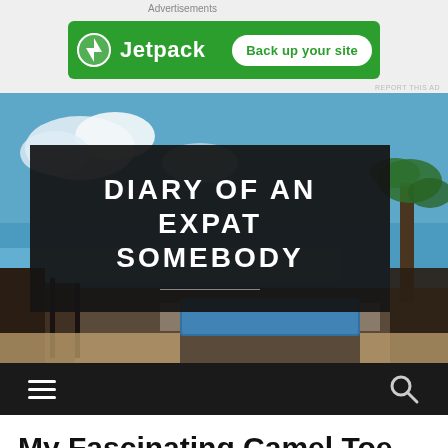Advertisements
[Figure (screenshot): Jetpack advertisement banner with green background, Jetpack logo and icon on the left, and a white 'Back up your site' button on the right]
[Figure (photo): Blog header image for 'Diary of an Expat Somebody' showing a tropical scene with infinity pool, ocean view, palm trees, and a dark overlay banner with the blog title in bold white uppercase text. A horizontal navigation bar with hamburger menu and search icon appears at the bottom.]
My Fascinating Camel Toe